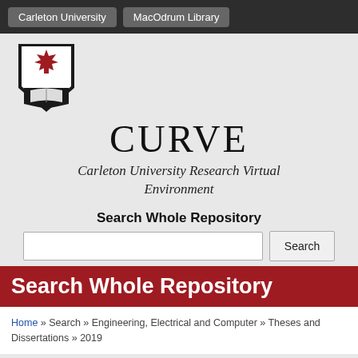Carleton University | MacOdrum Library
[Figure (logo): Carleton University shield logo with red maple leaf and open book on black background]
CURVE
Carleton University Research Virtual Environment
Search Whole Repository
[Search input box and Search button]
Search Whole Repository
Home » Search » Engineering, Electrical and Computer » Theses and Dissertations » 2019